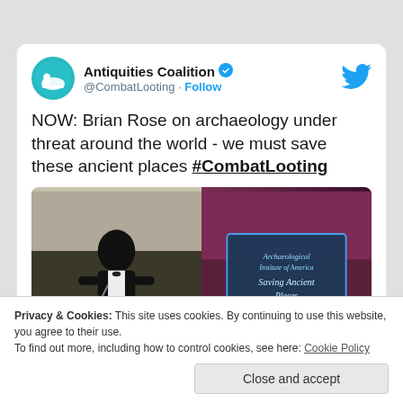[Figure (screenshot): Twitter/X post from Antiquities Coalition (@CombatLooting) with verified badge, Follow link, and Twitter bird icon. Tweet text reads: NOW: Brian Rose on archaeology under threat around the world - we must save these ancient places #CombatLooting. Below is a two-panel photo: left panel shows a man in a tuxedo speaking at a microphone, right panel shows an illuminated sign reading Archaeological Institute of America Saving Ancient Places.]
Privacy & Cookies: This site uses cookies. By continuing to use this website, you agree to their use.
To find out more, including how to control cookies, see here: Cookie Policy
Close and accept